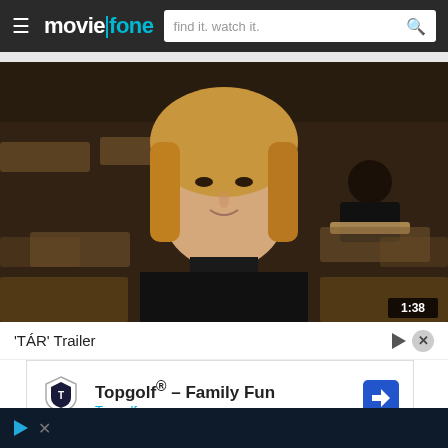moviefone — find it. watch it.
[Figure (photo): Movie still from TÁR: A woman with blonde hair wearing a black top sits in a wooden lecture hall auditorium, looking directly at the camera. Another person is visible seated in the background. A timestamp badge showing '1:38' is overlaid in the bottom-right corner.]
'TÁR' Trailer
[Figure (screenshot): Advertisement overlay for Topgolf® - Family Fun. Shows Topgolf shield logo on left, bold text 'Topgolf® - Family Fun' with 'Topgolf' in blue below, and a blue navigation arrow icon on the right.]
[Figure (screenshot): Dark bottom strip with blue play triangle icon and close/skip controls overlaid on a blue-tinted scene.]